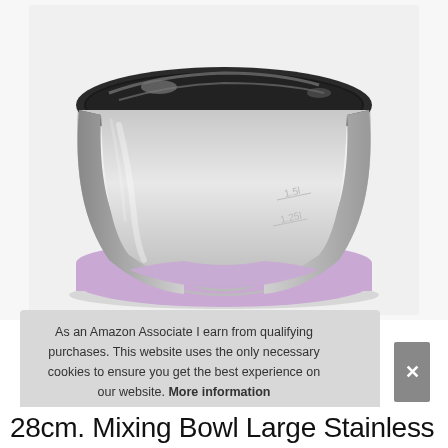[Figure (photo): A large stainless steel mixing bowl with a shiny mirror finish interior, a lavender/purple silicone non-slip base, and embossed measurement markings (1.5L and 1.25L visible) on the inside wall. The bowl is photographed from a slightly elevated angle against a light gray/white background.]
As an Amazon Associate I earn from qualifying purchases. This website uses the only necessary cookies to ensure you get the best experience on our website. More information
28cm. Mixing Bowl Large Stainless